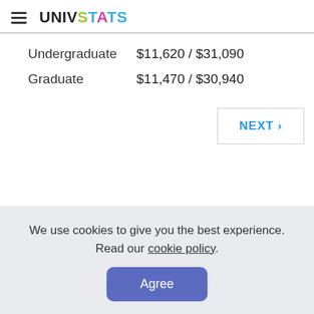UNIVSTATS
| Undergraduate | $11,620 / $31,090 |
| Graduate | $11,470 / $30,940 |
NEXT ›
We use cookies to give you the best experience. Read our cookie policy.
Agree